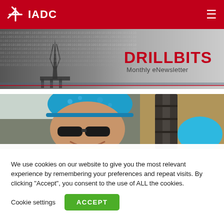IADC
[Figure (illustration): IADC DRILLBITS Monthly eNewsletter banner with oil rig silhouette and binary code background]
[Figure (photo): Oil field workers wearing blue hard hats and sunglasses at a drilling site]
We use cookies on our website to give you the most relevant experience by remembering your preferences and repeat visits. By clicking “Accept”, you consent to the use of ALL the cookies.
Cookie settings | ACCEPT